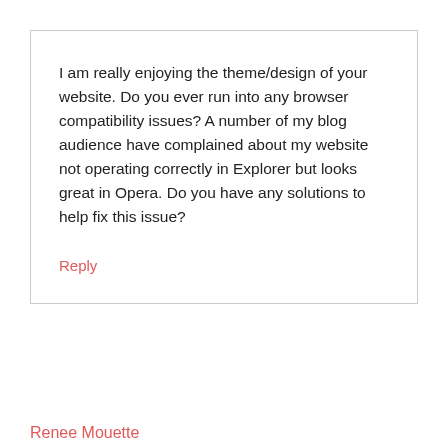I am really enjoying the theme/design of your website. Do you ever run into any browser compatibility issues? A number of my blog audience have complained about my website not operating correctly in Explorer but looks great in Opera. Do you have any solutions to help fix this issue?
Reply
Renee Mouette